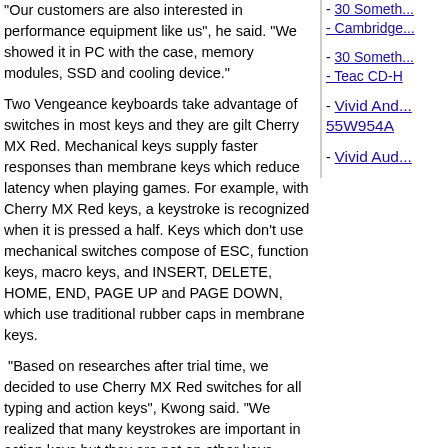"Our customers are also interested in performance equipment like us", he said. "We showed it in PC with the case, memory modules, SSD and cooling device."
Two Vengeance keyboards take advantage of switches in most keys and they are gilt Cherry MX Red. Mechanical keys supply faster responses than membrane keys which reduce latency when playing games. For example, with Cherry MX Red keys, a keystroke is recognized when it is pressed a half. Keys which don't use mechanical switches compose of ESC, function keys, macro keys, and INSERT, DELETE, HOME, END, PAGE UP and PAGE DOWN, which use traditional rubber caps in membrane keys.
"Based on researches after trial time, we decided to use Cherry MX Red switches for all typing and action keys", Kwong said. "We realized that many keystrokes are important in action keys but they are not on other keys, especially macro keys. Accidental launching a macro twice times may destroy a proper plan".
Features of mechanical keyboard
[Figure (photo): Small image placeholder icon]
Description: Corsair has used "Cherry MX Red' switches in these keyboards
Corsair has used "Cherry MX Red' switches in these keyboards
Mechanical keys are designed to recognize your keystrokes before you press key to the bottom. Some
- 30 Something - Cambridge
- 30 Something - Teac CD-H
- Vivid And 55W954A
- Vivid Aud